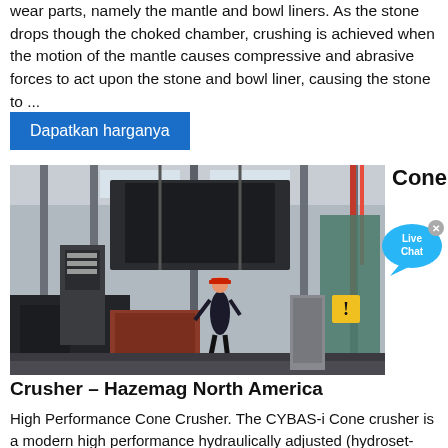wear parts, namely the mantle and bowl liners. As the stone drops though the choked chamber, crushing is achieved when the motion of the mantle causes compressive and abrasive forces to act upon the stone and bowl liner, causing the stone to ...
Dapatkan harganya
[Figure (photo): Industrial factory floor with large machinery including what appears to be a cone crusher assembly. A worker in a hard hat is visible in the center background.]
Cone
[Figure (infographic): Live Chat speech bubble icon in blue with an X close button]
Crusher – Hazemag North America
High Performance Cone Crusher. The CYBAS-i Cone crusher is a modern high performance hydraulically adjusted (hydroset-type) cone crusher, an enhancement of the original legendary CYBAS Cone is the result of intensive research and development of the crushing chamber and mechanical design. This development was achieved by taking the experiences